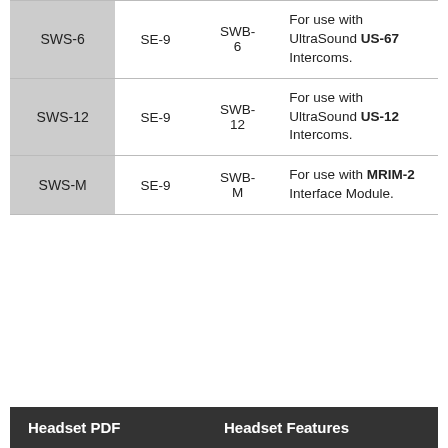|  |  |  |  |
| --- | --- | --- | --- |
| SWS-6 | SE-9 | SWB-6 | For use with UltraSound US-67 Intercoms. |
| SWS-12 | SE-9 | SWB-12 | For use with UltraSound US-12 Intercoms. |
| SWS-M | SE-9 | SWB-M | For use with MRIM-2 Interface Module. |
Headset PDF    Headset Features